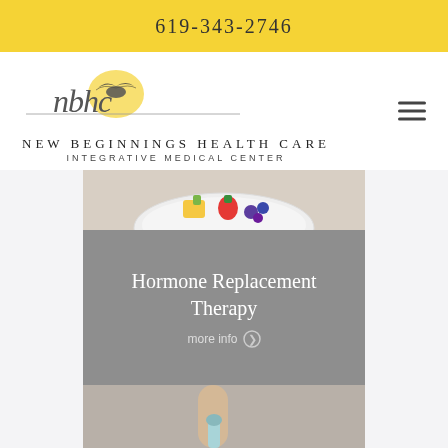619-343-2746
[Figure (logo): New Beginnings Health Care Integrative Medical Center logo with bird/dove illustration and cursive 'nbhc' script]
[Figure (photo): Photo of a bowl with colorful fruit including berries, strawberries and pineapple on a light background]
Hormone Replacement Therapy
more info ❯
[Figure (photo): Partial photo of a person holding a tube or syringe, bottom of the content area]